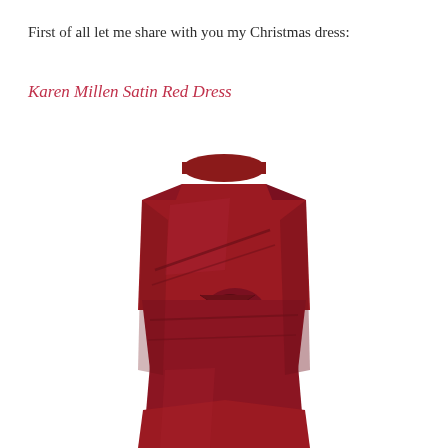First of all let me share with you my Christmas dress:
Karen Millen Satin Red Dress
[Figure (photo): A deep red/crimson Karen Millen satin dress with cap sleeves, a wide neckline, and draped/twisted fabric detail at the waist and skirt, shown on a headless mannequin against a white background.]